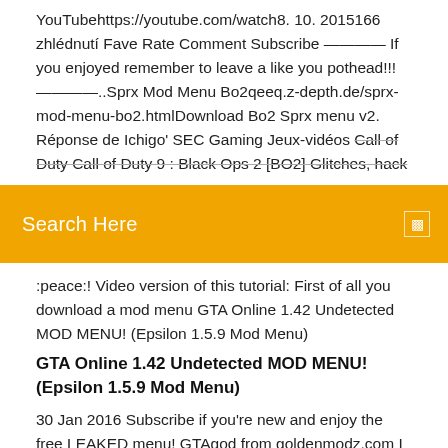YouTubehttps://youtube.com/watch8. 10. 2015166 zhlédnutí Fave Rate Comment Subscribe ———— If you enjoyed remember to leave a like you pothead!!! ————..Sprx Mod Menu Bo2qeeq.z-depth.de/sprx-mod-menu-bo2.htmlDownload Bo2 Sprx menu v2. Réponse de Ichigo' SEC Gaming Jeux-vidéos Call of Duty Call of Duty 9 : Black Ops 2 [BO2] Glitches, hacks
Search Here
:peace:! Video version of this tutorial: First of all you download a mod menu GTA Online 1.42 Undetected MOD MENU! (Epsilon 1.5.9 Mod Menu)
GTA Online 1.42 Undetected MOD MENU! (Epsilon 1.5.9 Mod Menu)
30 Jan 2016 Subscribe if you're new and enjoy the free LEAKED menu! GTAgod from goldenmodz.com I wanted to stress the fact that this mod menu was 1 Jul 2017 OPEN HERE FOR